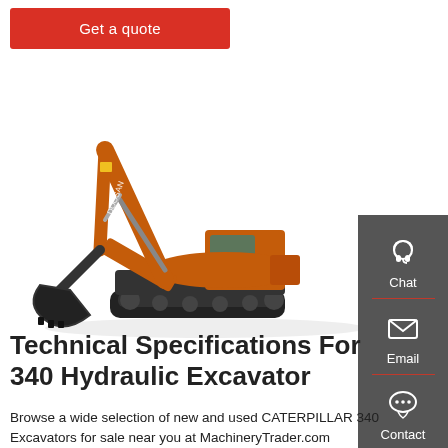Get a quote
[Figure (photo): Orange Doosan hydraulic excavator with extended boom and bucket on white background]
Technical Specifications For 340 Hydraulic Excavator
Browse a wide selection of new and used CATERPILLAR 340 Excavators for sale near you at MachineryTrader.com